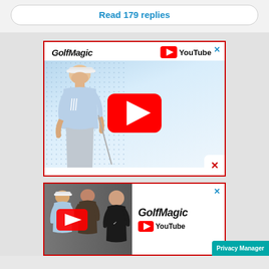Read 179 replies
[Figure (screenshot): GolfMagic YouTube advertisement banner featuring a golfer (Jon Rahm) in a light blue polo shirt with a TaylorMade cap, with a large YouTube play button overlaid in the center. GolfMagic logo top-left, YouTube logo top-right. Red border around ad with blue X close button.]
[Figure (screenshot): Second GolfMagic YouTube advertisement banner showing three golfers on the left side (Jon Rahm, Dustin Johnson, Rory McIlroy), YouTube play button on the left, and GolfMagic/YouTube logos on the right white panel. Red border around ad with blue X close button. Privacy Manager teal button at bottom right.]